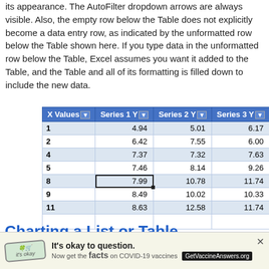its appearance. The AutoFilter dropdown arrows are always visible. Also, the empty row below the Table does not explicitly become a data entry row, as indicated by the unformatted row below the Table shown here. If you type data in the unformatted row below the Table, Excel assumes you want it added to the Table, and the Table and all of its formatting is filled down to include the new data.
| X Values | Series 1 Y | Series 2 Y | Series 3 Y |
| --- | --- | --- | --- |
| 1 | 4.94 | 5.01 | 6.17 |
| 2 | 6.42 | 7.55 | 6.00 |
| 4 | 7.37 | 7.32 | 7.63 |
| 5 | 7.46 | 8.14 | 9.26 |
| 8 | 7.99 | 10.78 | 11.74 |
| 9 | 8.49 | 10.02 | 10.33 |
| 11 | 8.63 | 12.58 | 11.74 |
|  |  |  |  |
Charting a List or Table
Here is an Excel 2003 XY chart that uses the data in our
[Figure (screenshot): Advertisement banner: COVID-19 vaccine information ad with logo, 'It's okay to question. Now get the facts on COVID-19 vaccines' and GetVaccineAnswers.org button]